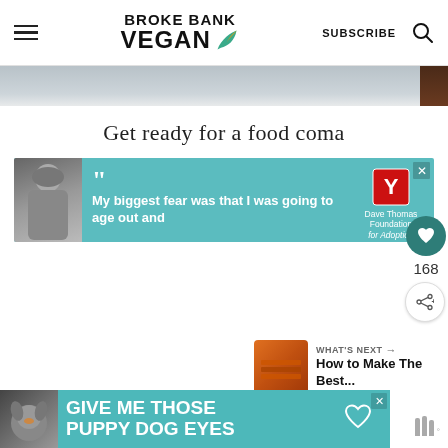BROKE BANK VEGAN | SUBSCRIBE
[Figure (photo): Partial hero image strip, grey/brown gradient background]
Get ready for a food coma
[Figure (infographic): Dave Thomas Foundation for Adoption advertisement banner with person photo and quote: My biggest fear was that I was going to age out and]
[Figure (infographic): GIVE ME THOSE PUPPY DOG EYES advertisement banner with dog photo]
168